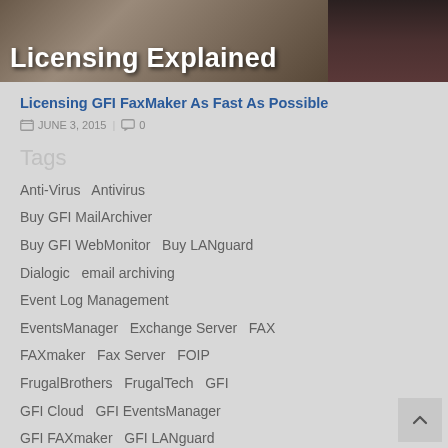[Figure (photo): Hero image showing 'Licensing Explained' text overlay on a dark office/person background photograph]
Licensing GFI FaxMaker As Fast As Possible
JUNE 3, 2015  |  0
Tags
Anti-Virus  Antivirus
Buy GFI MailArchiver
Buy GFI WebMonitor  Buy LANguard
Dialogic  email archiving
Event Log Management
EventsManager  Exchange Server  FAX
FAXmaker  Fax Server  FOIP
FrugalBrothers  FrugalTech  GFI
GFI Cloud  GFI EventsManager
GFI FAXmaker  GFI LANguard